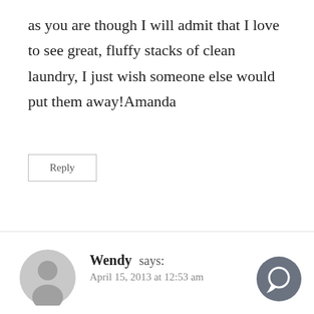as you are though I will admit that I love to see great, fluffy stacks of clean laundry, I just wish someone else would put them away!Amanda
Reply
Wendy says:
April 15, 2013 at 12:53 am
Nope, not bonkers! I grew up that way as well. But due to living without a washer and dryer for a while changes things. I do have individual hooks for clean and used/drying. Then i rotate the two towels durring week so they don't get as much use as just one towel. Then